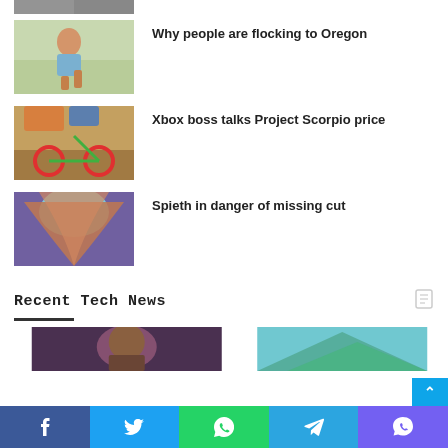[Figure (photo): Partial thumbnail image at top, cropped]
[Figure (photo): Child sitting outdoors thumbnail]
Why people are flocking to Oregon
[Figure (photo): Colorful bicycle with red wheels thumbnail]
Xbox boss talks Project Scorpio price
[Figure (photo): Canyon rock formation thumbnail]
Spieth in danger of missing cut
Recent Tech News
[Figure (photo): Man with beard thumbnail]
[Figure (photo): Mountain landscape thumbnail]